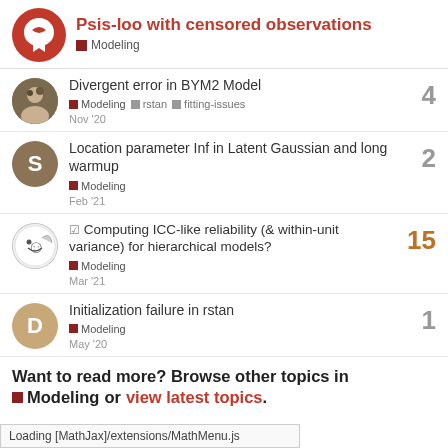Psis-loo with censored observations | Modeling
Divergent error in BYM2 Model | Modeling, rstan, fitting-issues | 4 | Nov '20
Location parameter Inf in Latent Gaussian and long warmup | Modeling | 2 | Feb '21
Computing ICC-like reliability (& within-unit variance) for hierarchical models? | Modeling | 15 | Mar '21
Initialization failure in rstan | Modeling | 1 | May '20
Want to read more? Browse other topics in Modeling or view latest topics.
Loading [MathJax]/extensions/MathMenu.js